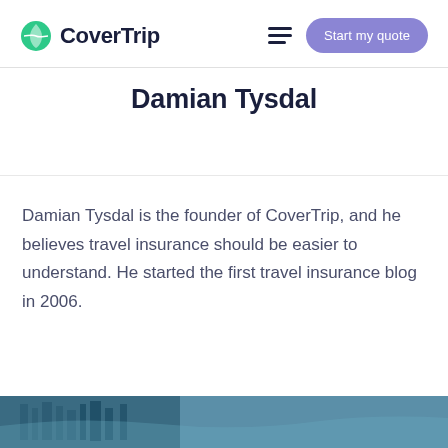CoverTrip  Start my quote
Damian Tysdal
Damian Tysdal is the founder of CoverTrip, and he believes travel insurance should be easier to understand. He started the first travel insurance blog in 2006.
[Figure (photo): Bottom strip showing a partial photo, appears to be a travel/outdoor scene with blue/teal tones]